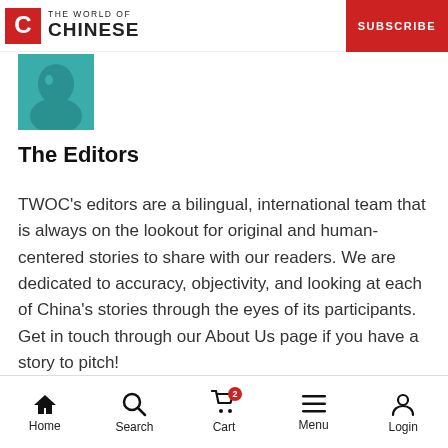THE WORLD OF CHINESE | SUBSCRIBE
[Figure (illustration): Avatar illustration of a person in teal/green color, partial face visible, used as profile image for The Editors]
The Editors
TWOC's editors are a bilingual, international team that is always on the lookout for original and human-centered stories to share with our readers. We are dedicated to accuracy, objectivity, and looking at each of China's stories through the eyes of its participants. Get in touch through our About Us page if you have a story to pitch!
Home | Search | Cart | Menu | Login